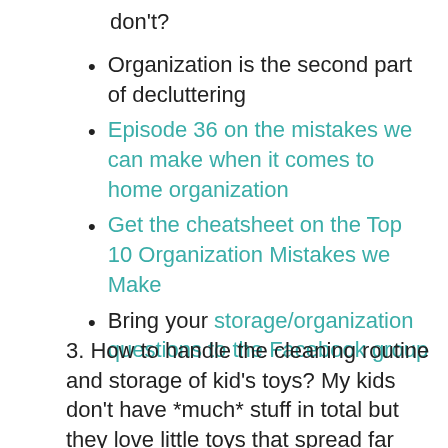don't?
Organization is the second part of decluttering
Episode 36 on the mistakes we can make when it comes to home organization
Get the cheatsheet on the Top 10 Organization Mistakes we Make
Bring your storage/organization questions to the Facebook group
3. How to handle the cleaning routine and storage of kid's toys? My kids don't have *much* stuff in total but they love little toys that spread far and wide